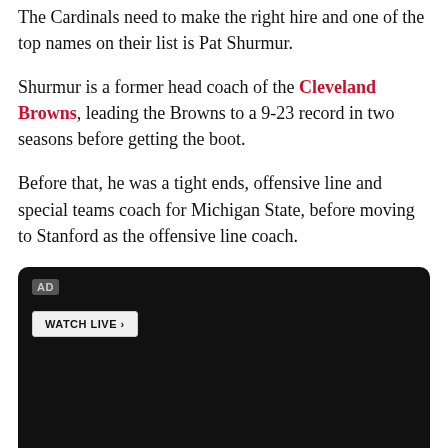The Cardinals need to make the right hire and one of the top names on their list is Pat Shurmur.
Shurmur is a former head coach of the Cleveland Browns, leading the Browns to a 9-23 record in two seasons before getting the boot.
Before that, he was a tight ends, offensive line and special teams coach for Michigan State, before moving to Stanford as the offensive line coach.
[Figure (other): Black video player ad box with AD label and WATCH LIVE button]